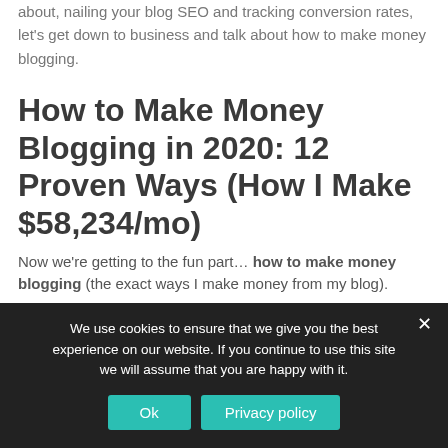how to start building a community, picking a niche to blog about, nailing your blog SEO and tracking conversion rates, let’s get down to business and talk about how to make money blogging.
How to Make Money Blogging in 2020: 12 Proven Ways (How I Make $58,234/mo)
Now we’re getting to the fun part… how to make money blogging (the exact ways I make money from my blog).
We use cookies to ensure that we give you the best experience on our website. If you continue to use this site we will assume that you are happy with it.